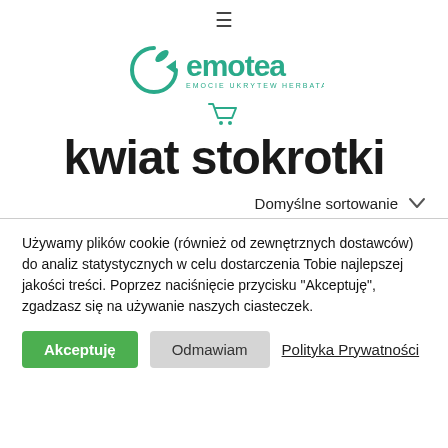[Figure (logo): Emotea logo with circular arrow and tagline 'EMOCIE UKRYTE W HERBATACH']
kwiat stokrotki
Domyślne sortowanie
Używamy plików cookie (również od zewnętrznych dostawców) do analiz statystycznych w celu dostarczenia Tobie najlepszej jakości treści. Poprzez naciśnięcie przycisku "Akceptuję", zgadzasz się na używanie naszych ciasteczek.